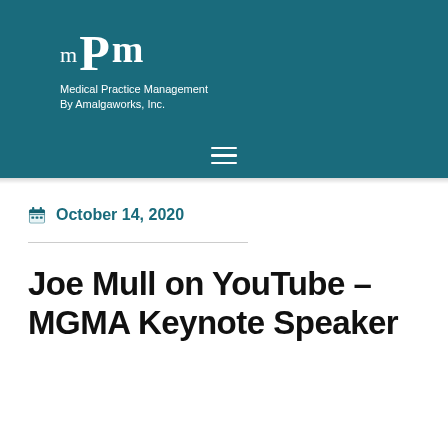[Figure (logo): MPM Medical Practice Management by Amalgaworks, Inc. logo — white serif text on teal background with large stylized mPm lettering]
October 14, 2020
Joe Mull on YouTube – MGMA Keynote Speaker